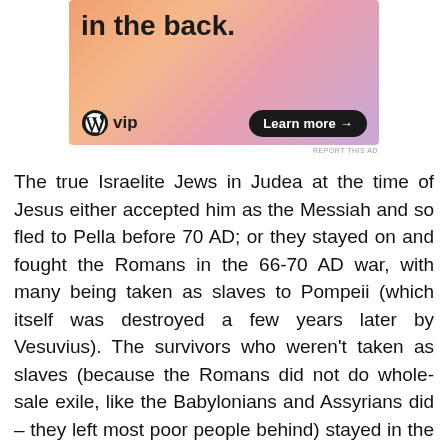[Figure (other): WordPress VIP advertisement banner with colorful gradient background (orange, pink, purple). Shows bold text 'in the back.' at top, WordPress VIP logo at bottom left, and 'Learn more →' button at bottom right.]
REPORT THIS AD
The true Israelite Jews in Judea at the time of Jesus either accepted him as the Messiah and so fled to Pella before 70 AD; or they stayed on and fought the Romans in the 66-70 AD war, with many being taken as slaves to Pompeii (which itself was destroyed a few years later by Vesuvius). The survivors who weren't taken as slaves (because the Romans did not do whole-sale exile, like the Babylonians and Assyrians did – they left most poor people behind) stayed in the land as poor peasants, and the Pharisees, etc. went to different places – mainly Babylon where they wrote the Babylonian Talmud (which is very anti-Jesus and